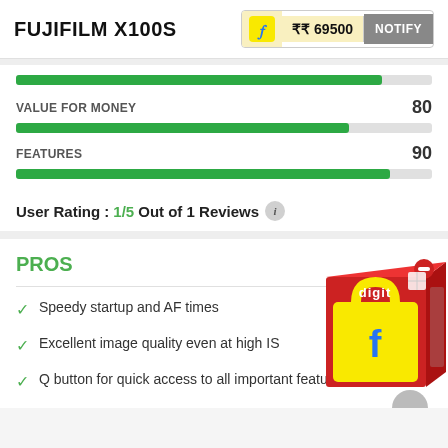FUJIFILM X100S
₹₹ 69500 NOTIFY
VALUE FOR MONEY 80
FEATURES 90
User Rating : 1/5 Out of 1 Reviews
PROS
Speedy startup and AF times
Excellent image quality even at high IS
Q button for quick access to all important features